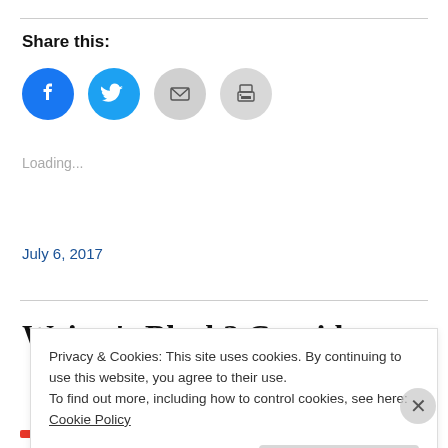Share this:
[Figure (infographic): Four social sharing icon buttons in circles: Facebook (blue), Twitter (light blue), Email (grey), Print (grey)]
Loading...
July 6, 2017
Writer's Block? Consider...
Privacy & Cookies: This site uses cookies. By continuing to use this website, you agree to their use.
To find out more, including how to control cookies, see here: Cookie Policy
Close and accept